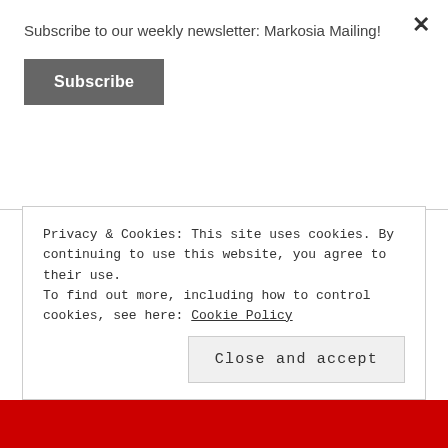Subscribe to our weekly newsletter: Markosia Mailing!
Subscribe
[Figure (logo): IndieBound logo — bold black text INDIE BOUND with a red hand/leaf graphic mark]
Privacy & Cookies: This site uses cookies. By continuing to use this website, you agree to their use. To find out more, including how to control cookies, see here: Cookie Policy
Close and accept